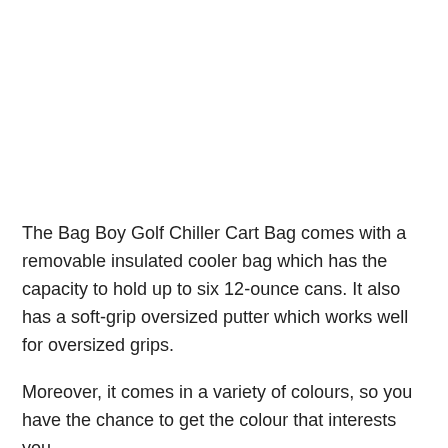The Bag Boy Golf Chiller Cart Bag comes with a removable insulated cooler bag which has the capacity to hold up to six 12-ounce cans. It also has a soft-grip oversized putter which works well for oversized grips.
Moreover, it comes in a variety of colours, so you have the chance to get the colour that interests you.
Features